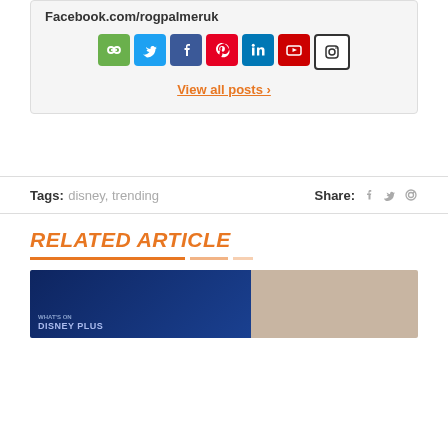Facebook.com/rogpalmeruk
[Figure (illustration): Row of 7 social media icon buttons: link/chain (green), Twitter (blue), Facebook (dark blue), Pinterest (red), LinkedIn (light blue), YouTube (red), Instagram (black/white outline)]
View all posts >
Tags: disney, trending
Share: (Facebook icon) (Twitter icon) (Pinterest icon)
RELATED ARTICLE
[Figure (screenshot): Article thumbnail showing Disney Plus logo on blue background on left and a person on beige background on right]